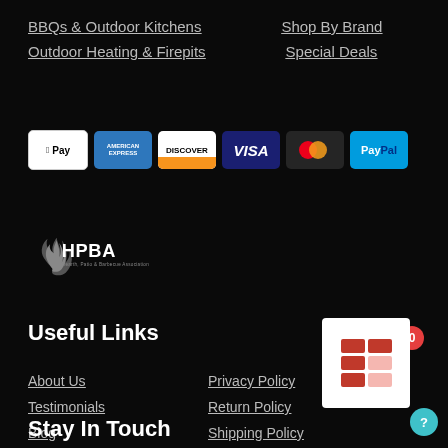BBQs & Outdoor Kitchens
Shop By Brand
Outdoor Heating & Firepits
Special Deals
[Figure (logo): Payment method logos: Apple Pay, American Express, Discover, Visa, MasterCard, PayPal]
[Figure (logo): HPBA - Hearth, Patio & Barbecue Association logo]
Useful Links
About Us
Privacy Policy
Testimonials
Return Policy
Blog
Shipping Policy
Cookout Event
Terms & Conditions
Stay In Touch